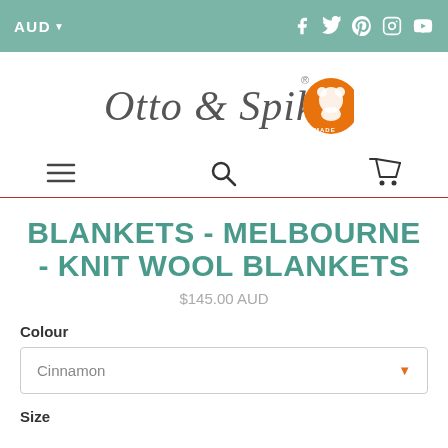AUD ▾  [social icons: Facebook, Twitter, Pinterest, Instagram, YouTube]
[Figure (logo): Otto & Spike cursive logo with orange koala circular badge]
[Figure (other): Navigation icons: hamburger menu, search, cart]
BLANKETS - MELBOURNE - KNIT WOOL BLANKETS
$145.00 AUD
Colour
Cinnamon
Size